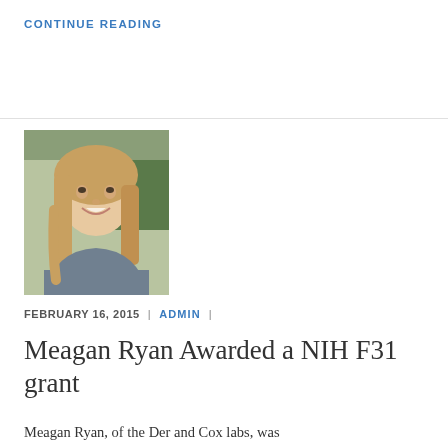CONTINUE READING
[Figure (photo): Portrait photo of Meagan Ryan, a young woman with long blonde hair, smiling, with a Christmas tree in the background]
FEBRUARY 16, 2015 | ADMIN |
Meagan Ryan Awarded a NIH F31 grant
Meagan Ryan, of the Der and Cox labs, was